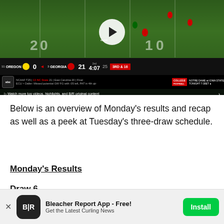[Figure (screenshot): Video screenshot of a college football game between #11 Oregon (0) and #3 Georgia (21), showing scoreboard with 4:07 remaining in the 2nd quarter, 3rd & 16. ABC ticker shows NCAAF T25 scores and Notre Dame vs Iowa State tonight at 7:30. Watch more top videos, highlights, and B/R original content bar at bottom.]
Below is an overview of Monday's results and recap as well as a peek at Tuesday's three-draw schedule.
Monday's Results
Draw 6
Bleacher Report App - Free!
Get the Latest Curling News